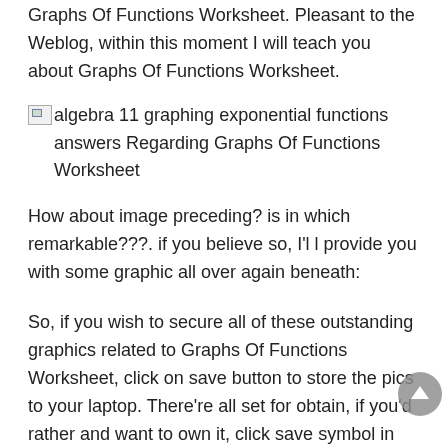Graphs Of Functions Worksheet. Pleasant to the Weblog, within this moment I will teach you about Graphs Of Functions Worksheet.
[Figure (illustration): Broken image placeholder icon followed by alt text: algebra 11 graphing exponential functions answers Regarding Graphs Of Functions Worksheet]
How about image preceding? is in which remarkable???. if you believe so, I'l l provide you with some graphic all over again beneath:
So, if you wish to secure all of these outstanding graphics related to Graphs Of Functions Worksheet, click on save button to store the pics to your laptop. There're all set for obtain, if you'd rather and want to own it, click save symbol in the post, and it will be immediately saved to your desktop computer.} As a final point if you like to find unique and the recent graphic related with Graphs Of